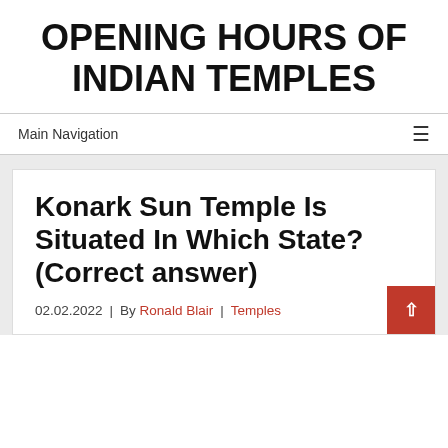OPENING HOURS OF INDIAN TEMPLES
Main Navigation
Konark Sun Temple Is Situated In Which State? (Correct answer)
02.02.2022 | By Ronald Blair | Temples